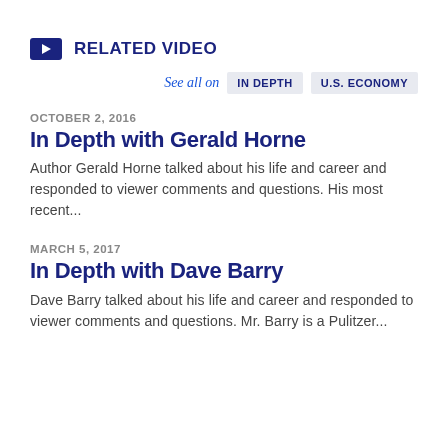RELATED VIDEO
See all on   IN DEPTH   U.S. ECONOMY
OCTOBER 2, 2016
In Depth with Gerald Horne
Author Gerald Horne talked about his life and career and responded to viewer comments and questions. His most recent...
MARCH 5, 2017
In Depth with Dave Barry
Dave Barry talked about his life and career and responded to viewer comments and questions. Mr. Barry is a Pulitzer...